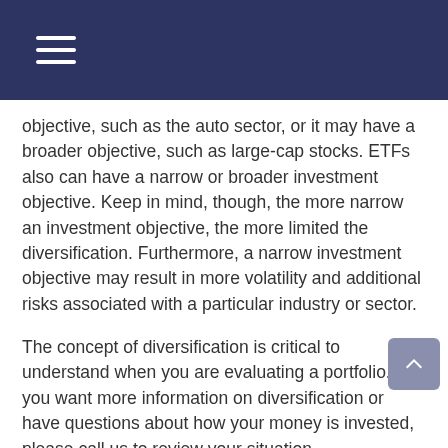objective, such as the auto sector, or it may have a broader objective, such as large-cap stocks. ETFs also can have a narrow or broader investment objective. Keep in mind, though, the more narrow an investment objective, the more limited the diversification. Furthermore, a narrow investment objective may result in more volatility and additional risks associated with a particular industry or sector.
The concept of diversification is critical to understand when you are evaluating a portfolio. If you want more information on diversification or have questions about how your money is invested, please call us to review your situation.
Mutual funds and exchange-traded funds are sold only by prospectus. Please consider the charges, risks, expenses,